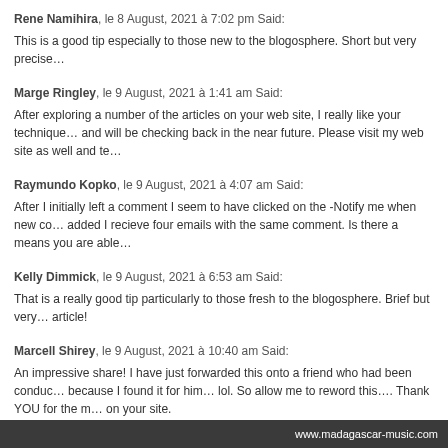Rene Namihira, le 8 August, 2021 à 7:02 pm Said:
This is a good tip especially to those new to the blogosphere. Short but very precise…
Marge Ringley, le 9 August, 2021 à 1:41 am Said:
After exploring a number of the articles on your web site, I really like your technique… and will be checking back in the near future. Please visit my web site as well and te…
Raymundo Kopko, le 9 August, 2021 à 4:07 am Said:
After I initially left a comment I seem to have clicked on the -Notify me when new co… added I recieve four emails with the same comment. Is there a means you are able…
Kelly Dimmick, le 9 August, 2021 à 6:53 am Said:
That is a really good tip particularly to those fresh to the blogosphere. Brief but very… article!
Marcell Shirey, le 9 August, 2021 à 10:40 am Said:
An impressive share! I have just forwarded this onto a friend who had been conduc… because I found it for him… lol. So allow me to reword this…. Thank YOU for the m… on your site.
www.madagascar-music.com